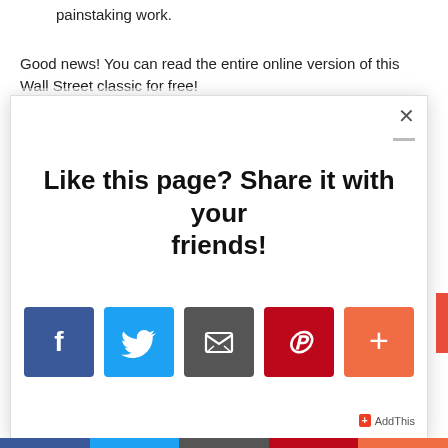painstaking work.
Good news! You can read the entire online version of this Wall Street classic for free!
The th...in life that the...ined for f...
[Figure (screenshot): Share modal popup with title 'Like this page? Share it with your friends!' and social sharing buttons for Facebook, Twitter, Email, Pinterest, and AddThis (+)]